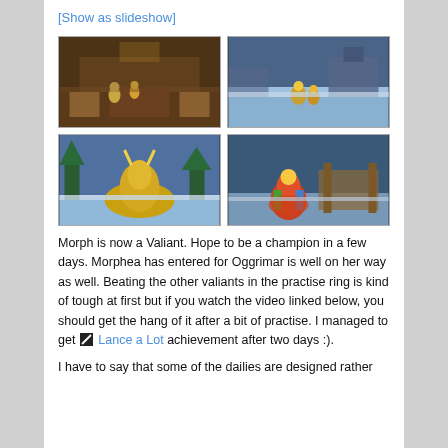[Show as slideshow]
[Figure (screenshot): Four World of Warcraft game screenshots arranged in 2x2 grid. Top-left: indoor tavern scene with characters. Top-right: outdoor snowy scene with characters. Bottom-left: snowy scene with golden armored mount/character. Bottom-right: snowy scene with colorful armored character.]
Morph is now a Valiant. Hope to be a champion in a few days. Morphea has entered for Oggrimar is well on her way as well. Beating the other valiants in the practise ring is kind of tough at first but if you watch the video linked below, you should get the hang of it after a bit of practise. I managed to get [icon] Lance a Lot achievement after two days :).
I have to say that some of the dailies are designed rather